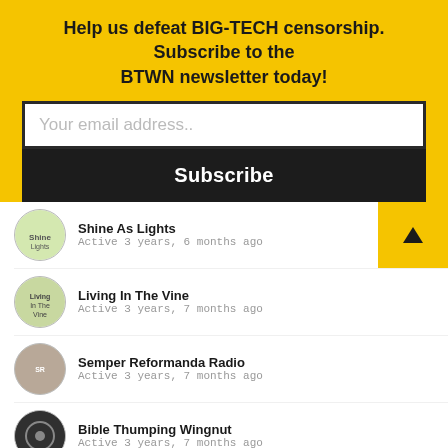Help us defeat BIG-TECH censorship. Subscribe to the BTWN newsletter today!
Your email address..
Subscribe
Shine As Lights
Active 3 years, 6 months ago
Living In The Vine
Active 3 years, 7 months ago
Semper Reformanda Radio
Active 3 years, 7 months ago
Bible Thumping Wingnut
Active 3 years, 7 months ago
Christ The Rock Church Sermons
Active 3 years, 7 months ago
Members